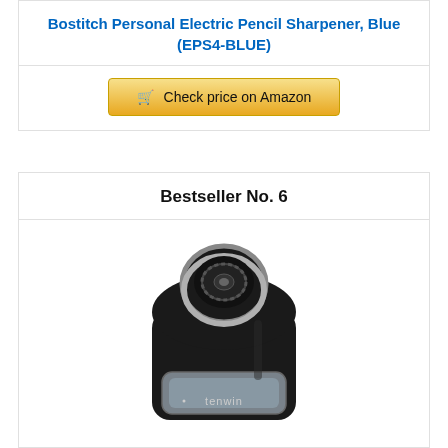Bostitch Personal Electric Pencil Sharpener, Blue (EPS4-BLUE)
Check price on Amazon
Bestseller No. 6
[Figure (photo): Black Tenwin electric pencil sharpener with clear shaving reservoir and adjustable pencil hole on top]
Tihoo Electric Pencil Sharpener Battery Operated